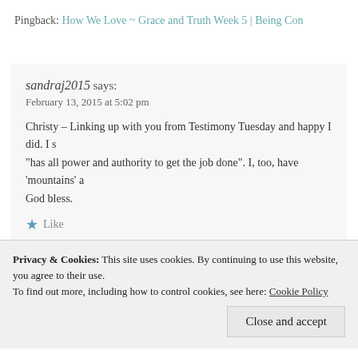Pingback: How We Love ~ Grace and Truth Week 5 | Being Con
sandraj2015 says:
February 13, 2015 at 5:02 pm
Christy – Linking up with you from Testimony Tuesday and happy I did. I s "has all power and authority to get the job done". I, too, have 'mountains' a God bless.
Like
Reply
Dawn says:
Privacy & Cookies: This site uses cookies. By continuing to use this website, you agree to their use.
To find out more, including how to control cookies, see here: Cookie Policy
Close and accept